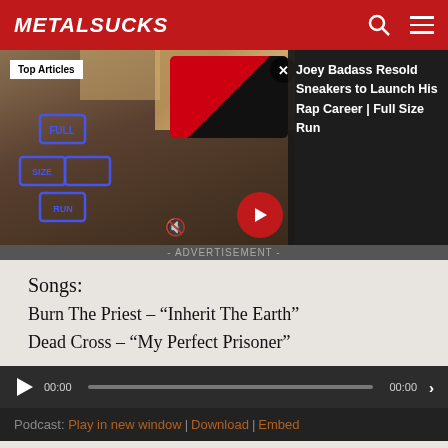MetalSucks
[Figure (screenshot): Advertisement showing Joey Badass with sneakers, Full Size Run logo, Nike shoes, and article title overlay: 'Joey Badass Resold Sneakers to Launch His Rap Career | Full Size Run']
- ADVERTISEMENT -
Songs:
Burn The Priest – “Inherit The Earth”
Dead Cross – “My Perfect Prisoner”
[Figure (other): Audio player with play button, time display 00:00, progress bar, end time 00:00, and forward button]
Podcast: Play in new window | Download | Embed